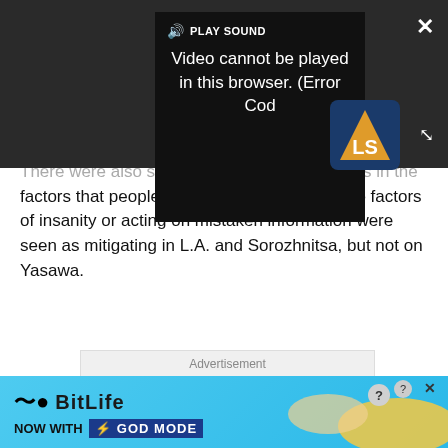[Figure (screenshot): Video player overlay showing error message 'Video cannot be played in this browser. (Error Cod' with PLAY SOUND button, LS logo, close (X) button, and expand arrows icon on dark background.]
There were also some cross-cultural variations in the factors that people regarded as mitigating: the factors of insanity or acting on mistaken information were seen as mitigating in L.A. and Sorozhnitsa, but not on Yasawa.
[Figure (screenshot): Advertisement placeholder box with label 'Advertisement']
[Figure (screenshot): BitLife banner advertisement: 'NOW WITH GOD MODE' on a blue background with hand/pointer graphics and close buttons.]